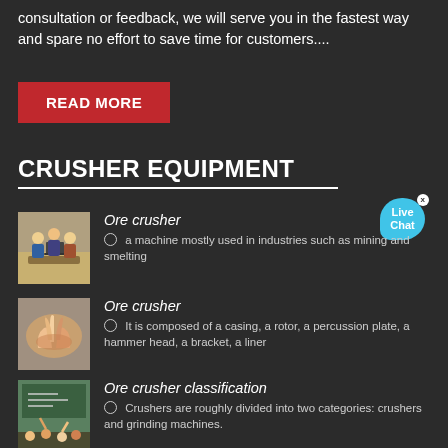consultation or feedback, we will serve you in the fastest way and spare no effort to save time for customers....
READ MORE
CRUSHER EQUIPMENT
[Figure (photo): Business meeting with people around a laptop]
Ore crusher
⊙ a machine mostly used in industries such as mining and smelting
[Figure (photo): Hands joined together in a teamwork gesture]
Ore crusher
⊙ It is composed of a casing, a rotor, a percussion plate, a hammer head, a bracket, a liner
[Figure (photo): Classroom with students raising hands]
Ore crusher classification
⊙ Crushers are roughly divided into two categories: crushers and grinding machines.